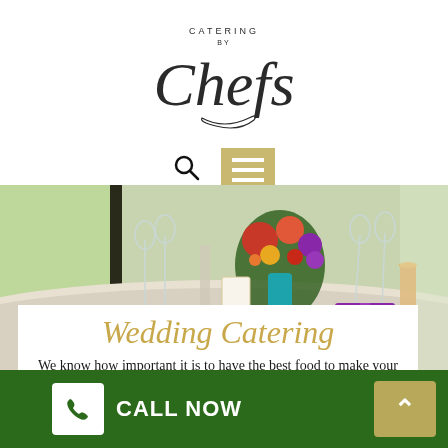[Figure (logo): Catering by Chefs logo — script text 'Catering by Chefs' in dark serif/italic style with decorative swash]
[Figure (photo): Wedding reception table setting with wine glasses, floral centerpiece with purple and orange flowers, colorful petal decorations, and a purple gift box]
Wedding Catering
We know how important it is to have the best food to make your event unforgettable. We're committed to supplying you with a tailored
CALL NOW